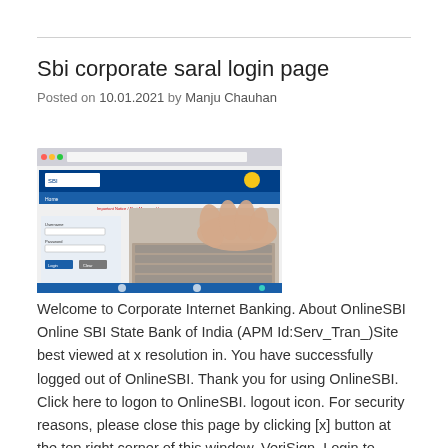Sbi corporate saral login page
Posted on 10.01.2021 by Manju Chauhan
[Figure (screenshot): Screenshot of SBI Corporate Internet Banking login page showing a web browser with the SBI banking portal, featuring a form with input fields and a hand typing on a keyboard image.]
Welcome to Corporate Internet Banking. About OnlineSBI Online SBI State Bank of India (APM Id:Serv_Tran_)Site best viewed at x resolution in. You have successfully logged out of OnlineSBI. Thank you for using OnlineSBI. Click here to logon to OnlineSBI. logout icon. For security reasons, please close this page by clicking [x] button at the top right corner of this window. VeriSign. Login to OnlineSBI. Transaction Products. Saral · Vyapaar · Vistaar. Enquiry Products. Khata · Khata Plus.